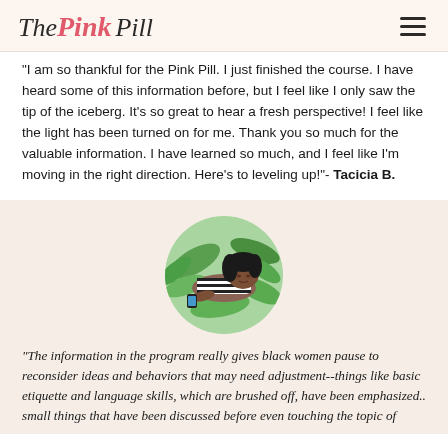The Pink Pill
"I am so thankful for the Pink Pill. I just finished the course. I have heard some of this information before, but I feel like I only saw the tip of the iceberg. It's so great to hear a fresh perspective! I feel like the light has been turned on for me. Thank you so much for the valuable information. I have learned so much, and I feel like I'm moving in the right direction. Here's to leveling up!"- Tacicia B.
[Figure (illustration): Circular avatar illustration of a woman lying down on green leaves, wearing a striped black and white top]
"The information in the program really gives black women pause to reconsider ideas and behaviors that may need adjustment--things like basic etiquette and language skills, which are brushed off, have been emphasized.. small things that have been discussed before even touching the topic of